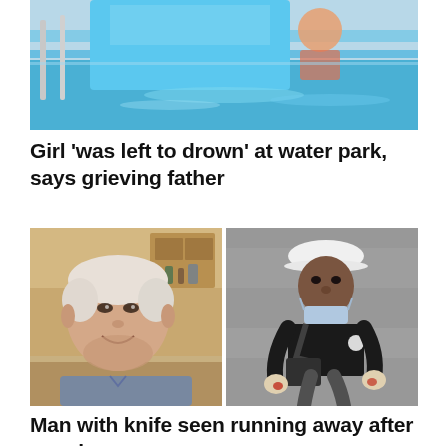[Figure (photo): Close-up photo of a blue water slide or pool area, showing a child partially submerged or on a slide, with blue water and a railing visible]
Girl 'was left to drown' at water park, says grieving father
[Figure (photo): Two side-by-side photos: left shows an elderly man with white hair smiling in a kitchen; right shows a man in a black t-shirt wearing a white cap and face mask pulled down, running away, appearing to be surveillance footage]
Man with knife seen running away after pensioner,